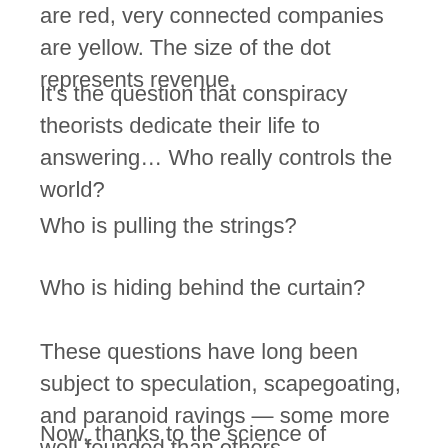are red, very connected companies are yellow. The size of the dot represents revenue.
It's the question that conspiracy theorists dedicate their life to answering… Who really controls the world?
Who is pulling the strings?
Who is hiding behind the curtain?
These questions have long been subject to speculation, scapegoating, and paranoid ravings — some more well-founded than others.
Now, thanks to the science of complex system…